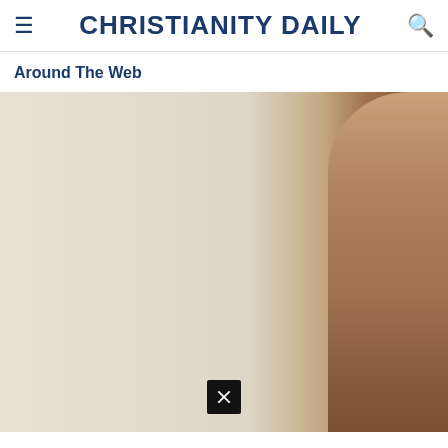CHRISTIANITY DAILY
Around The Web
[Figure (photo): A person partially visible on the right side of the image against a light beige/cream background wall. A close button (X) appears at the bottom center of the image.]